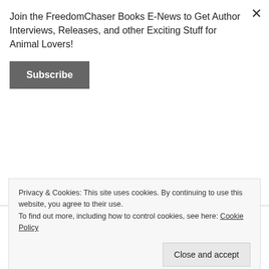Join the FreedomChaser Books E-News to Get Author Interviews, Releases, and other Exciting Stuff for Animal Lovers!
Subscribe
Buy in Paperback | Buy on Kindle | Buy Audiobook
Private Rick Santos and the little cat who befriended him—Sergeant Pepper—are now famous war heroes: battle buddies wounded in combat and awarded the
Privacy & Cookies: This site uses cookies. By continuing to use this website, you agree to their use.
To find out more, including how to control cookies, see here: Cookie Policy
Close and accept
Now they'll face their greatest challenge yet: civilian life.